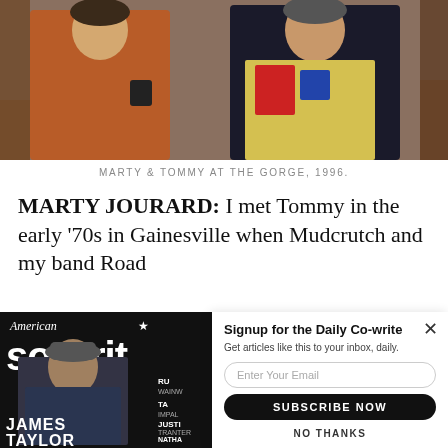[Figure (photo): Two people standing outdoors, one in orange jacket holding a cup, one in colorful printed shirt and black jacket, 1996 photo]
MARTY & TOMMY AT THE GORGE, 1996.
MARTY JOURARD: I met Tommy in the early '70s in Gainesville when Mudcrutch and my band Road
[Figure (photo): American Songwriter magazine cover featuring James Taylor]
Signup for the Daily Co-write
Get articles like this to your inbox, daily.
Enter Your Email
SUBSCRIBE NOW
NO THANKS